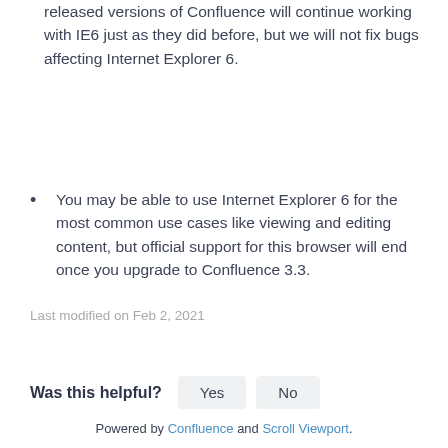released versions of Confluence will continue working with IE6 just as they did before, but we will not fix bugs affecting Internet Explorer 6.
You may be able to use Internet Explorer 6 for the most common use cases like viewing and editing content, but official support for this browser will end once you upgrade to Confluence 3.3.
Last modified on Feb 2, 2021
Was this helpful?
Powered by Confluence and Scroll Viewport.